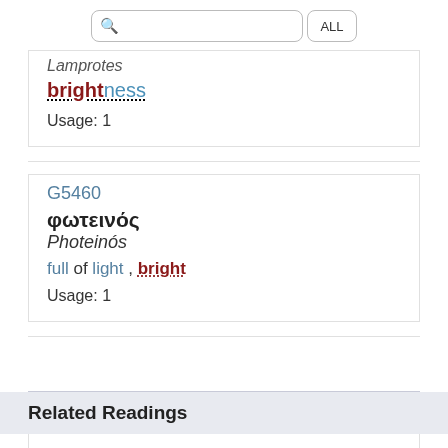[Figure (screenshot): Search bar with magnifying glass icon and ALL button]
Lamprotes
brightness
Usage: 1
G5460
φωτεινός
Photeinós
full of light , bright
Usage: 1
Related Readings